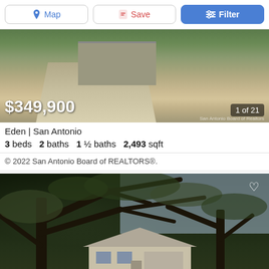[Figure (screenshot): Top toolbar with Map, Save, and Filter buttons]
[Figure (photo): Exterior photo of a house with driveway and garage, price overlay $349,900, showing 1 of 21 photos]
Eden | San Antonio
3 beds   2 baths   1 ½ baths   2,493 sqft
© 2022 San Antonio Board of REALTORS®.
[Figure (photo): Exterior photo of a house with large oak trees in foreground, heart/save icon in top right]